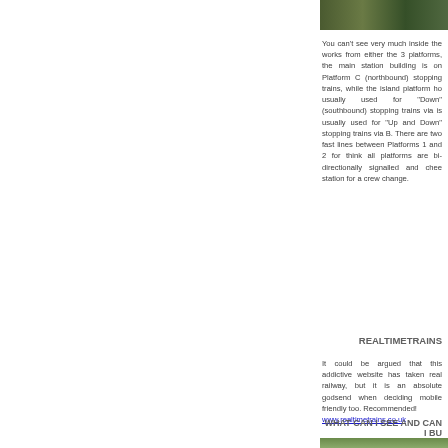[Figure (photo): Partial view of railway works or train infrastructure, cropped at top of page]
You can't see very much inside the works from either the 3 platforms, the main station building is on Platform C (northbound) stopping trains, while the island platform ho... usually used for "Down" (southbound) stopping trains via ... is usually used for "Up and Down" stopping trains via B. There are two fast lines between Platforms 1 and 2 for ... think all platforms are bi-directionally signalled and chee... station for a crew change.
REALTIMETRAINS
It could be argued that this addictive website has taken ... real railway, but it is an absolute godsend when deciding ... mobile friendly too. Recommended!
www.realtimetrains.co.uk
WHAT CAN I SEE AND CAN I BU...
[Figure (photo): Outdoor railway scene with green vegetation, signal lights, street lights and road visible]